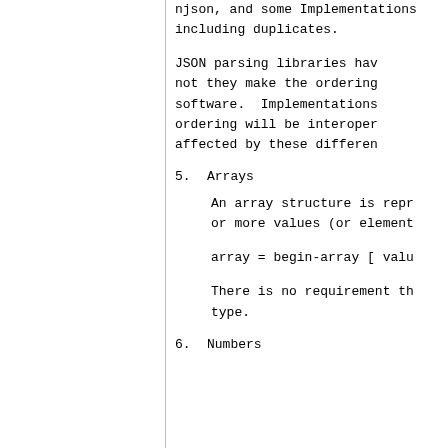njson, and some Implementations including duplicates.
JSON parsing libraries have varied as to whether or not they make the ordering of object members visible to calling software.  Implementations whose behavior does not depend on member ordering will be interoperable in the sense that they will not be affected by these differences.
5.  Arrays
An array structure is represented as square brackets surrounding zero or more values (or elements).
array = begin-array [ value *( value-separator value ) ] end-array
There is no requirement that the values in an array be of the same type.
6.  Numbers